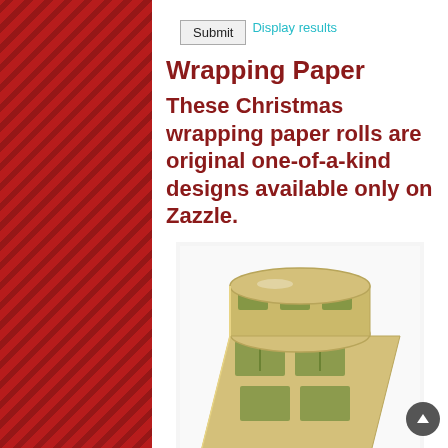Submit  Display results
Wrapping Paper
These Christmas wrapping paper rolls are original one-of-a-kind designs available only on Zazzle.
[Figure (photo): A roll of Christmas wrapping paper with a vintage botanical holly and berry design on a cream/tan background, showing the paper both rolled and unrolled flat.]
CHRISTMAS LETTER ,HOLLYBERR...
Price info